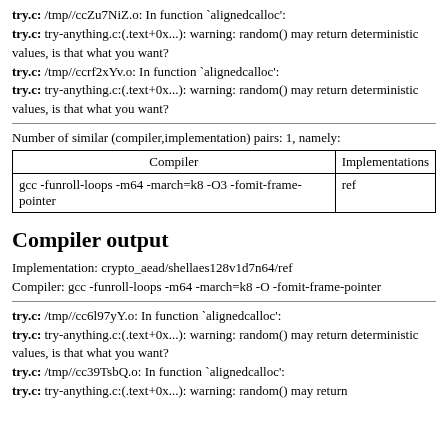try.c: /tmp//ccZu7NiZ.o: In function `alignedcalloc': try.c: try-anything.c:(.text+0x...): warning: random() may return deterministic values, is that what you want? try.c: /tmp//ccrf2xYv.o: In function `alignedcalloc': try.c: try-anything.c:(.text+0x...): warning: random() may return deterministic values, is that what you want?
Number of similar (compiler,implementation) pairs: 1, namely:
| Compiler | Implementations |
| --- | --- |
| gcc -funroll-loops -m64 -march=k8 -O3 -fomit-frame-pointer | ref |
Compiler output
Implementation: crypto_aead/shellaes128v1d7n64/ref
Compiler: gcc -funroll-loops -m64 -march=k8 -O -fomit-frame-pointer
try.c: /tmp//cc6l97yY.o: In function `alignedcalloc': try.c: try-anything.c:(.text+0x...): warning: random() may return deterministic values, is that what you want? try.c: /tmp//cc39TsbQ.o: In function `alignedcalloc': try.c: try-anything.c:(.text+0x...): warning: random() may return